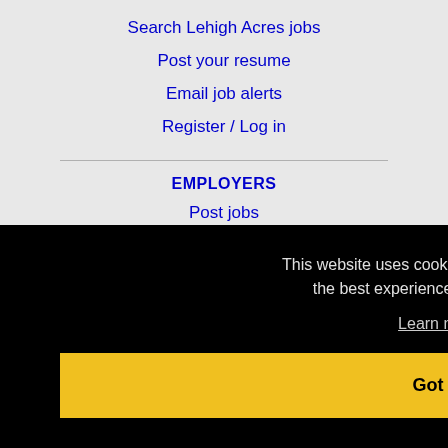Search Lehigh Acres jobs
Post your resume
Email job alerts
Register / Log in
EMPLOYERS
Post jobs
Search resumes
This website uses cookies to ensure you get the best experience on our website.
Learn more
Got it!